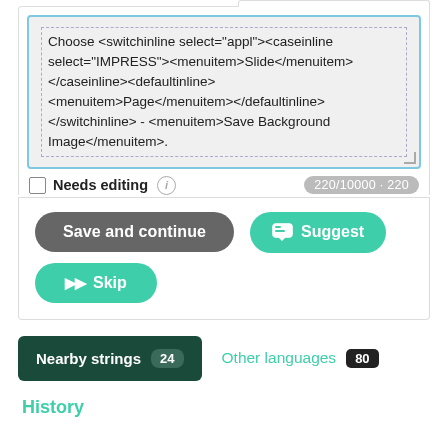Choose <switchinline select="appl"><caseinline select="IMPRESS"><menuitem>Slide</menuitem></caseinline><defaultinline><menuitem>Page</menuitem></defaultinline></switchinline> - <menuitem>Save Background Image</menuitem>.
Needs editing  220/10000 · 220
Save and continue
Suggest
Skip
Nearby strings 24
Other languages 80
History